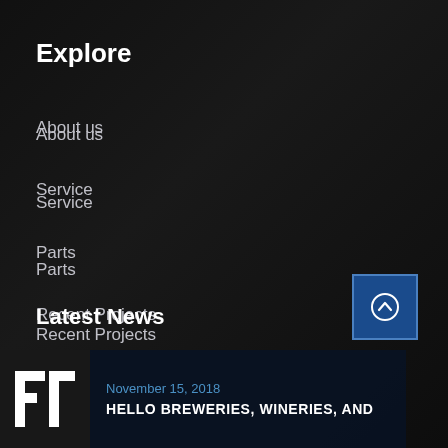Explore
About us
Service
Parts
Recent Projects
News
Terms & Conditions
Latest News
November 15, 2018
HELLO BREWERIES, WINERIES, AND